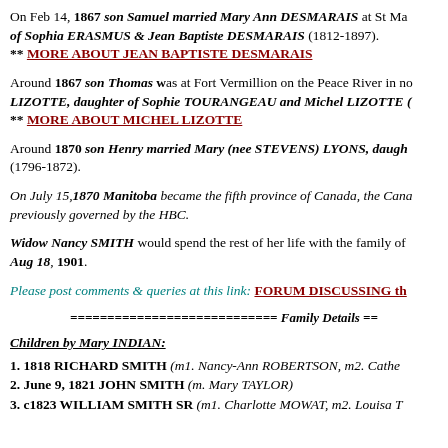On Feb 14, 1867 son Samuel married Mary Ann DESMARAIS at St Ma... of Sophia ERASMUS & Jean Baptiste DESMARAIS (1812-1897). ** MORE ABOUT JEAN BAPTISTE DESMARAIS
Around 1867 son Thomas was at Fort Vermillion on the Peace River in no... LIZOTTE, daughter of Sophie TOURANGEAU and Michel LIZOTTE (... ** MORE ABOUT MICHEL LIZOTTE
Around 1870 son Henry married Mary (nee STEVENS) LYONS, daugh... (1796-1872).
On July 15,1870 Manitoba became the fifth province of Canada, the Cana... previously governed by the HBC.
Widow Nancy SMITH would spend the rest of her life with the family of ... Aug 18, 1901.
Please post comments & queries at this link: FORUM DISCUSSING th...
============================ Family Details ==
Children by Mary INDIAN:
1. 1818 RICHARD SMITH (m1. Nancy-Ann ROBERTSON, m2. Cathe...
2. June 9, 1821 JOHN SMITH (m. Mary TAYLOR)
3. c1823 WILLIAM SMITH SR (m1. Charlotte MOWAT, m2. Louisa T...